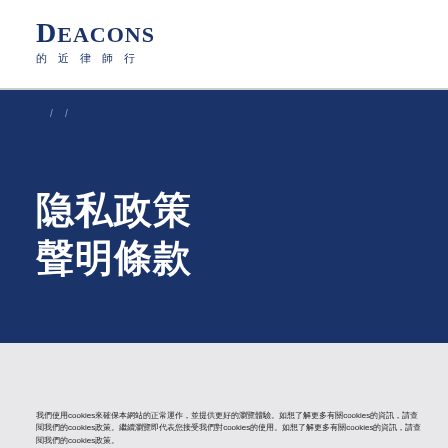[Figure (logo): Deacons law firm logo with English name DEACONS and Chinese characters 的近律師行]
/ /
隱私政策
我們使用cookies來確保本網站的正常運作，並提供更好的瀏覽體驗。繼續瀏覽即代表您接受我們對cookies的使用。如想了解更多有關cookies的資訊，請查閱我們的cookies政策。
[Figure (other): Accept/close button with cookie icon]